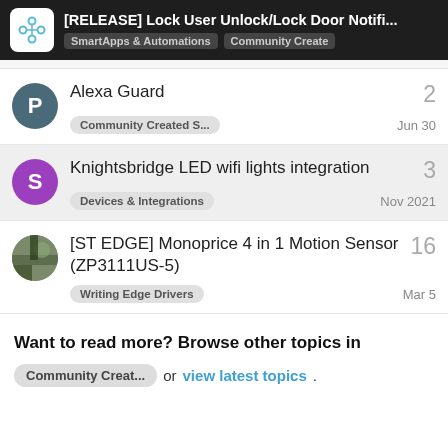[RELEASE] Lock User Unlock/Lock Door Notifi... | SmartApps & Automations | Community Created
Alexa Guard | Community Created S... | 2 | Jun 30
Knightsbridge LED wifi lights integration | Devices & Integrations | 3 | Nov 2021
[ST EDGE] Monoprice 4 in 1 Motion Sensor (ZP3111US-5) | Writing Edge Drivers | 16 | Mar 5
Want to read more? Browse other topics in Community Creat... or view latest topics.